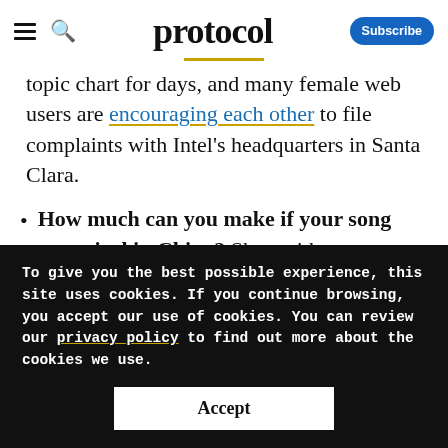protocol
topic chart for days, and many female web users are encouraging each other to file complaints with Intel's headquarters in Santa Clara.
How much can you make if your song goes viral in China? Short-video app
To give you the best possible experience, this site uses cookies. If you continue browsing, you accept our use of cookies. You can review our privacy policy to find out more about the cookies we use.
Accept